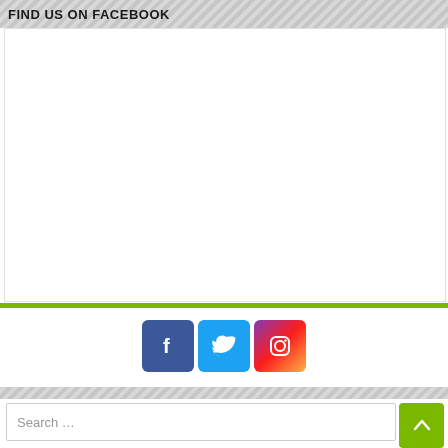FIND US ON FACEBOOK
[Figure (other): Empty white content box area, Facebook widget placeholder]
[Figure (infographic): Social media icons row: Facebook (blue), Twitter (light blue), Instagram (gradient)]
Search ...